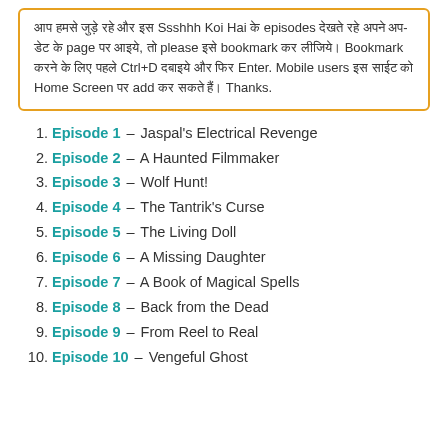आप हमसे जुड़े रहे और इस Ssshhh Koi Hai के episodes देखते रहे अपने अप-डेट के page पर आइये, तो please इसे bookmark कर लीजिये। Bookmark करने के लिए पहले Ctrl+D दबाइये और फिर Enter. Mobile users इस साईट को Home Screen पर add कर सकते हैं। Thanks.
Episode 1 – Jaspal's Electrical Revenge
Episode 2 – A Haunted Filmmaker
Episode 3 – Wolf Hunt!
Episode 4 – The Tantrik's Curse
Episode 5 – The Living Doll
Episode 6 – A Missing Daughter
Episode 7 – A Book of Magical Spells
Episode 8 – Back from the Dead
Episode 9 – From Reel to Real
Episode 10 – Vengeful Ghost